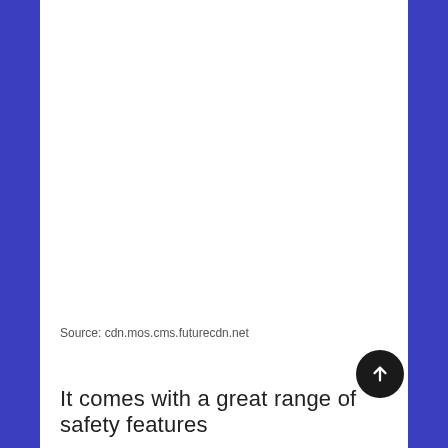Source: cdn.mos.cms.futurecdn.net
It comes with a great range of safety features